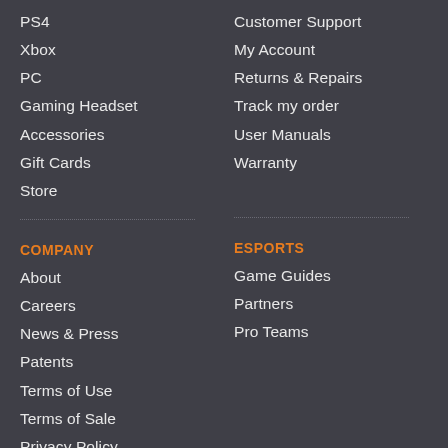PS4
Xbox
PC
Gaming Headset
Accessories
Gift Cards
Store
Customer Support
My Account
Returns & Repairs
Track my order
User Manuals
Warranty
COMPANY
ESPORTS
About
Careers
News & Press
Patents
Terms of Use
Terms of Sale
Privacy Policy
Cookies Settings
Game Guides
Partners
Pro Teams